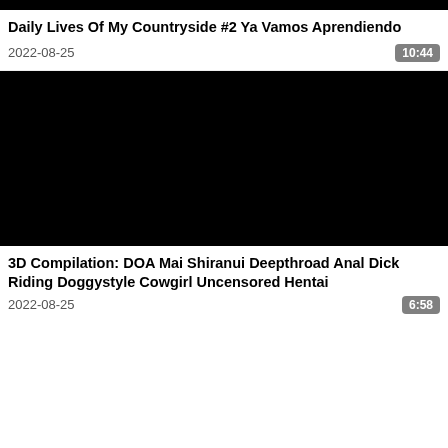[Figure (screenshot): Black video thumbnail strip at top of page]
Daily Lives Of My Countryside #2 Ya Vamos Aprendiendo
2022-08-25   10:44
[Figure (screenshot): Large black video thumbnail]
3D Compilation: DOA Mai Shiranui Deepthroad Anal Dick Riding Doggystyle Cowgirl Uncensored Hentai
2022-08-25   6:58